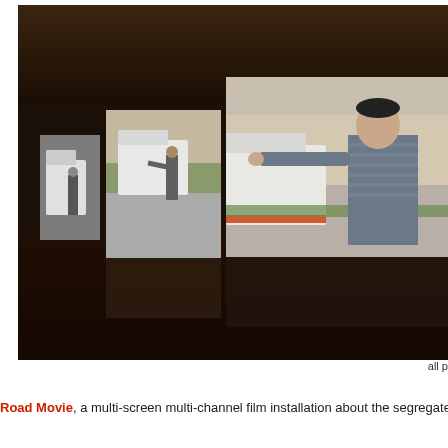[Figure (photo): A dark gallery installation space with multiple large projection screens showing a young man in a striped shirt with his arm outstretched toward a white vehicle/bus, set against a rocky landscape. The screens recede into the dark background, with reflections visible on the shiny floor.]
all p
Road Movie, a multi-screen multi-channel film installation about the segregated r